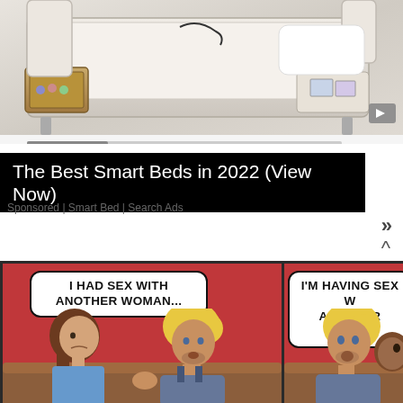[Figure (photo): Advertisement showing a smart bed with storage drawers and accessories, cream/beige colored upholstered bed frame with video player controls at bottom]
The Best Smart Beds in 2022 (View Now)
Sponsored | Smart Bed | Search Ads
[Figure (illustration): Two-panel comic strip. Left panel: a blonde man says 'I HAD SEX WITH ANOTHER WOMAN...' to a brunette woman on a couch. Right panel (partially visible): same blonde man says 'I'M HAVING SEX W... ANOTHER WOMA...']